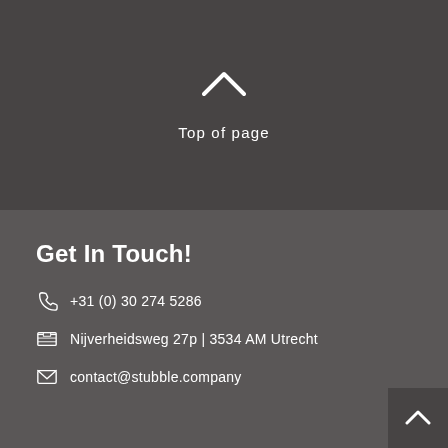[Figure (illustration): Upward chevron arrow icon in white on dark grey background]
Top of page
Get In Touch!
+31 (0) 30 274 5286
Nijverheidsweg 27p  |  3534 AM  Utrecht
contact@stubble.company
[Figure (illustration): Small upward chevron arrow icon in white on dark grey square button, bottom right corner]